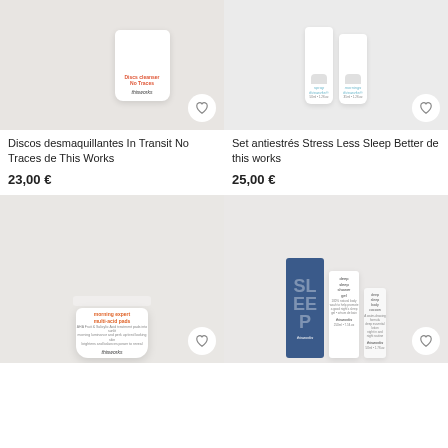[Figure (photo): This Works product - Discos desmaquillantes In Transit No Traces, white jar with brand label]
[Figure (photo): This Works product set - Set antiestrés Stress Less Sleep Better, two spray bottles]
Discos desmaquillantes In Transit No Traces de This Works
Set antiestrés Stress Less Sleep Better de this works
23,00 €
25,00 €
[Figure (photo): This Works morning expert multi-acid pads, white jar with orange label]
[Figure (photo): This Works deep sleep shower gel and body cocoon set with navy blue box]